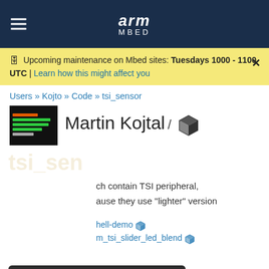arm MBED
Upcoming maintenance on Mbed sites: Tuesdays 1000 - 1100 UTC | Learn how this might affect you
Users » Kojto » Code » tsi_sensor
Martin Kojtal /
Important Information for this Arm website

This site uses cookies to store information on your computer. By continuing to use our site, you consent to our cookies. If you are not happy with the use of these cookies, please review our Cookie Policy to learn how they can be disabled. By disabling cookies, some features of the site will not work.

Accept and hide this message
ch contain TSI peripheral, ause they use "lighter" version
hell-demo
m_tsi_slider_led_blend